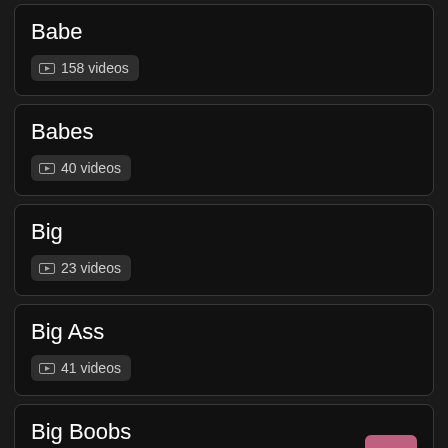Babe — 158 videos
Babes — 40 videos
Big — 23 videos
Big Ass — 41 videos
Big Boobs — 90 videos